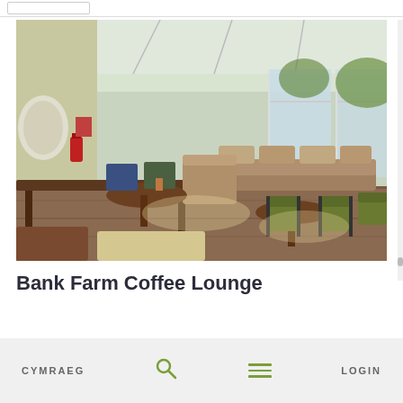[Figure (photo): Interior of Bank Farm Coffee Lounge — a bright conservatory-style cafe with large windows, wooden tables, green upholstered chairs, brown sofas, and natural light streaming in.]
Bank Farm Coffee Lounge
CYMRAEG  [search icon]  [menu icon]  LOGIN